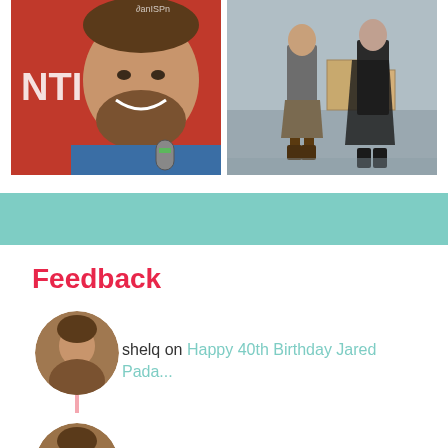[Figure (photo): Two photos side by side: left shows a smiling bearded man with microphone in front of a red backdrop; right shows costumed figures standing in a warehouse/store setting.]
Feedback
shelq on Happy 40th Birthday Jared Pada...
shelq on Supernatural Rewatch: Supernat...
evelynw62 on Supernatural Breaks All